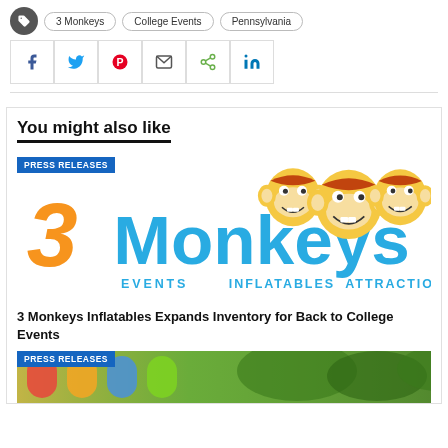3 Monkeys | College Events | Pennsylvania
[Figure (infographic): Social share buttons: Facebook, Twitter, Pinterest, Email, Share, LinkedIn]
You might also like
PRESS RELEASES
[Figure (logo): 3 Monkeys Inflatables, Events, Attractions logo with three cartoon monkey faces]
3 Monkeys Inflatables Expands Inventory for Back to College Events
PRESS RELEASES
[Figure (photo): Partial photo of colorful outdoor inflatable]